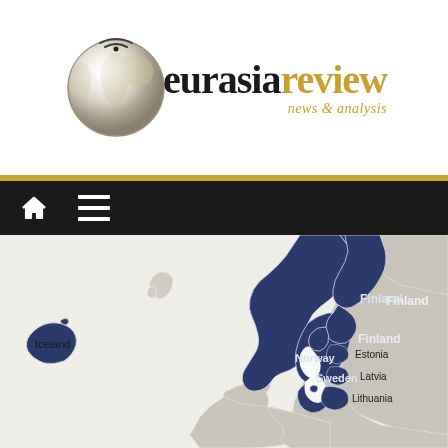[Figure (logo): Eurasia Review globe logo with globe graphic on left and brand name 'eurasia' in black and 'review' in gold italic serif, tagline 'news & analysis' in gold italic below]
[Figure (map): Map of Northern Europe showing Scandinavia and Baltic region. Iceland labeled on left, Norway, Sweden, Finland (all shaded dark navy blue), Estonia, Latvia, Lithuania labeled on right side. Background countries in light gray/taupe.]